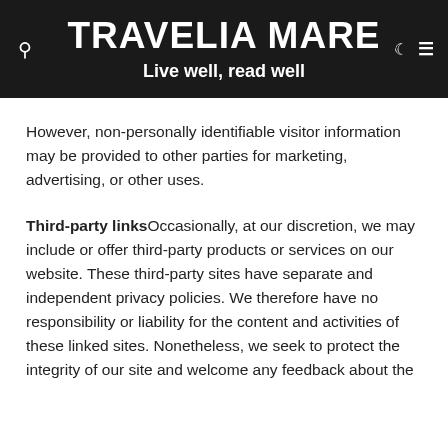TRAVELIA MARE
Live well, read well
However, non-personally identifiable visitor information may be provided to other parties for marketing, advertising, or other uses.
Third-party linksOccasionally, at our discretion, we may include or offer third-party products or services on our website. These third-party sites have separate and independent privacy policies. We therefore have no responsibility or liability for the content and activities of these linked sites. Nonetheless, we seek to protect the integrity of our site and welcome any feedback about the